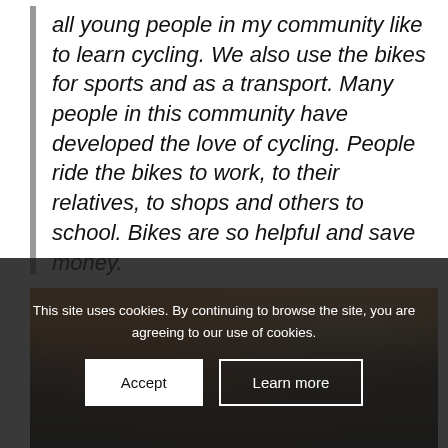all young people in my community like to learn cycling. We also use the bikes for sports and as a transport. Many people in this community have developed the love of cycling. People ride the bikes to work, to their relatives, to shops and others to school. Bikes are so helpful and save money.
[Figure (photo): Photo of people in a classroom/group setting, partially visible, with orange and neutral tones]
This site uses cookies. By continuing to browse the site, you are agreeing to our use of cookies.